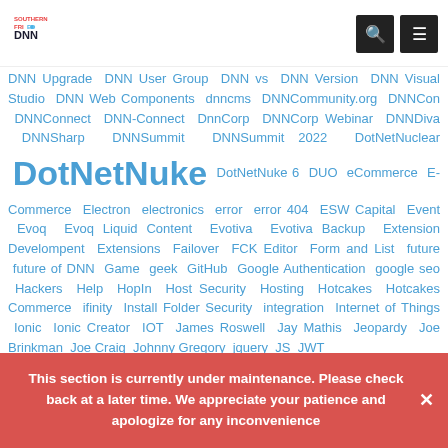Southern Fried DNN logo with search and menu icons
DNN Upgrade DNN User Group DNN vs DNN Version DNN Visual Studio DNN Web Components dnncms DNNCommunity.org DNNCon DNNConnect DNN-Connect DnnCorp DNNCorp Webinar DNNDiva DNNSharp DNNSummit DNNSummit 2022 DotNetNuclear DotNetNuke DotNetNuke 6 DUO eCommerce E-Commerce Electron electronics error error 404 ESW Capital Event Evoq Evoq Liquid Content Evotiva Evotiva Backup Extension Develompent Extensions Failover FCK Editor Form and List future future of DNN Game geek GitHub Google Authentication google seo Hackers Help HopIn Host Security Hosting Hotcakes Hotcakes Commerce ifinity Install Folder Security integration Internet of Things Ionic Ionic Creator IOT James Roswell Jay Mathis Jeopardy Joe Brinkman Joe Craig Johnny Gregory jquery JS JWT
This section is currently under maintenance. Please check back at a later time. We appreciate your patience and apologize for any inconvenience